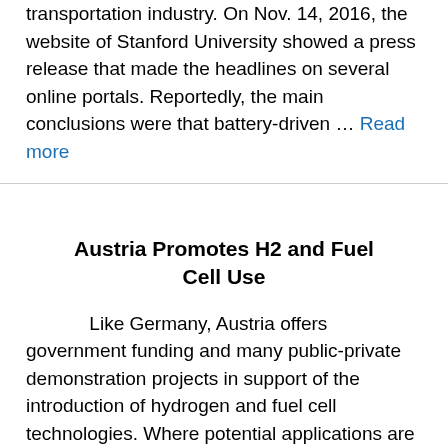…has caused quite a stir in the electric transportation industry. On Nov. 14, 2016, the website of Stanford University showed a press release that made the headlines on several online portals. Reportedly, the main conclusions were that battery-driven … Read more
Austria Promotes H2 and Fuel Cell Use
Like Germany, Austria offers government funding and many public-private demonstration projects in support of the introduction of hydrogen and fuel cell technologies. Where potential applications are concerned, the country's focus is on transportation, albeit interest in energy supply seems to be on the rise. … Read more